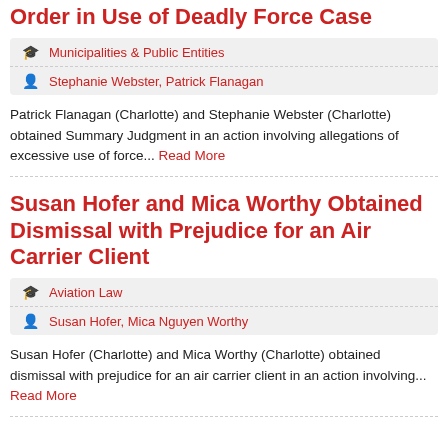Order in Use of Deadly Force Case
Municipalities & Public Entities
Stephanie Webster, Patrick Flanagan
Patrick Flanagan (Charlotte) and Stephanie Webster (Charlotte) obtained Summary Judgment in an action involving allegations of excessive use of force... Read More
Susan Hofer and Mica Worthy Obtained Dismissal with Prejudice for an Air Carrier Client
Aviation Law
Susan Hofer, Mica Nguyen Worthy
Susan Hofer (Charlotte) and Mica Worthy (Charlotte) obtained dismissal with prejudice for an air carrier client in an action involving... Read More